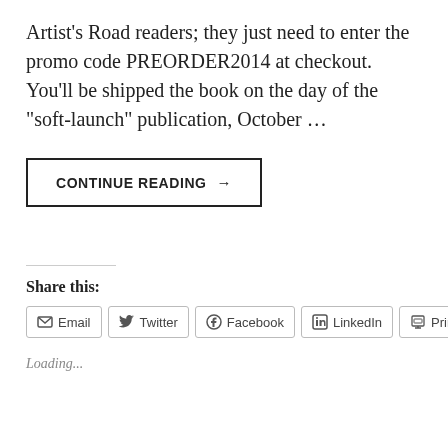Artist's Road readers; they just need to enter the promo code PREORDER2014 at checkout. You'll be shipped the book on the day of the "soft-launch" publication, October …
CONTINUE READING →
Share this:
Email  Twitter  Facebook  LinkedIn  Print
Loading...